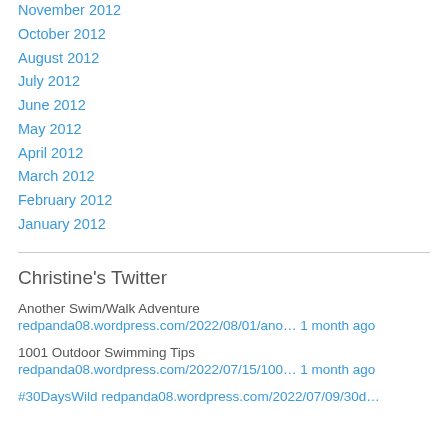November 2012
October 2012
August 2012
July 2012
June 2012
May 2012
April 2012
March 2012
February 2012
January 2012
Christine's Twitter
Another Swim/Walk Adventure
redpanda08.wordpress.com/2022/08/01/ano… 1 month ago
1001 Outdoor Swimming Tips
redpanda08.wordpress.com/2022/07/15/100… 1 month ago
#30DaysWild redpanda08.wordpress.com/2022/07/09/30d…